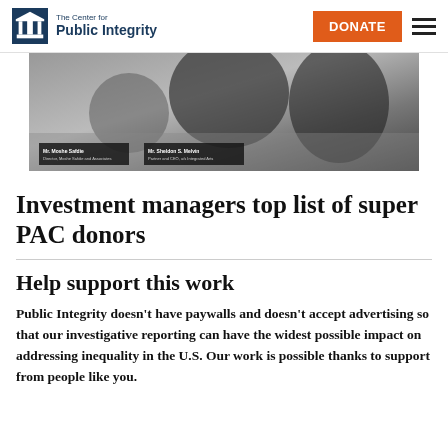The Center for Public Integrity | DONATE
[Figure (photo): Photo of people seated at a panel table with name placards]
Investment managers top list of super PAC donors
Help support this work
Public Integrity doesn't have paywalls and doesn't accept advertising so that our investigative reporting can have the widest possible impact on addressing inequality in the U.S. Our work is possible thanks to support from people like you.